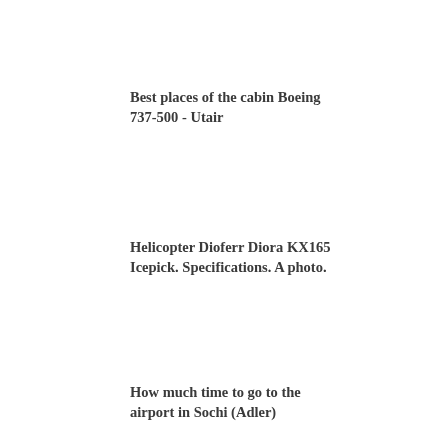Best places of the cabin Boeing 737-500 - Utair
Helicopter Dioferr Diora KX165 Icepick. Specifications. A photo.
How much time to go to the airport in Sochi (Adler)